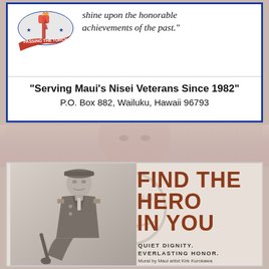[Figure (logo): Top advertisement box with blue border. Contains a logo with 'Passing the Torch' ribbon/torch graphic on the left, an italic quote 'shine upon the honorable achievements of the past.' on the right, and below: 'Serving Maui's Nisei Veterans Since 1982' and 'P.O. Box 882, Wailuku, Hawaii 96793']
"Serving Maui's Nisei Veterans Since 1982"
P.O. Box 882, Wailuku, Hawaii 96793
[Figure (illustration): Bottom advertisement showing a grayscale illustration of a Japanese-American soldier in WWII uniform leaning on a rifle. Bold brown text reads 'FIND THE HERO IN YOU'. Below in smaller caps: 'QUIET DIGNITY. EVERLASTING HONOR.' and 'Mural by Maui artist Kirk Kurokawa'. Background has a faint watermark of the Go For Broke / 442nd insignia.]